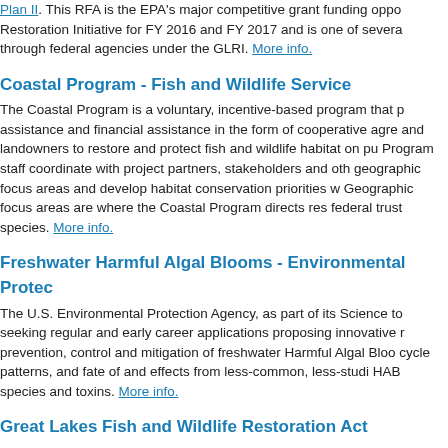Plan II. This RFA is the EPA's major competitive grant funding opportunity for the Great Lakes Restoration Initiative for FY 2016 and FY 2017 and is one of several competitive grant opportunities through federal agencies under the GLRI. More info.
Coastal Program - Fish and Wildlife Service
The Coastal Program is a voluntary, incentive-based program that provides technical assistance and financial assistance in the form of cooperative agreements to private landowners and landowners to restore and protect fish and wildlife habitat on public and private lands. Program staff coordinate with project partners, stakeholders and others to identify geographic focus areas and develop habitat conservation priorities within those areas. Geographic focus areas are where the Coastal Program directs resources to benefit fish and federal trust species. More info.
Freshwater Harmful Algal Blooms - Environmental Protection Agency
The U.S. Environmental Protection Agency, as part of its Science to Achieve Results program, is seeking regular and early career applications proposing innovative research on the prevention, control and mitigation of freshwater Harmful Algal Blooms (HABs), including life cycle patterns, and fate of and effects from less-common, less-studied, or newly emerging HAB species and toxins. More info.
Great Lakes Fish and Wildlife Restoration Act
The U.S. Fish and Wildlife Service requests interested entities to submit National and Regional Project proposals for the restoration of the Great Lakes Basin ecosystem as authorized under the Great Lakes Fish and Wildlife Restoration Act. The purpose of the Great Lakes Fish and Wildlife Restoration Act is to provide assistance to States, Indian Tribes, and other interested entities to encourage cooperative conservation and management of the fish and wildlife resources and their habitats in the Great Lakes Basin. More info.